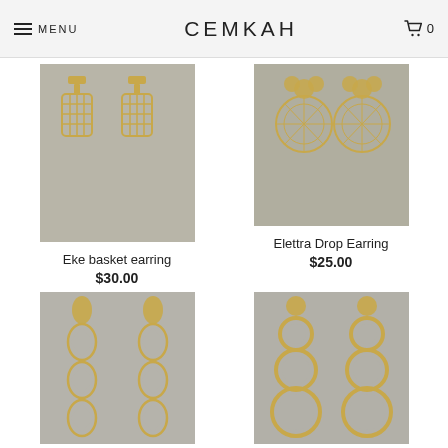MENU  CEMKAH  🛒 0
[Figure (photo): Gold basket-weave cylindrical drop earrings, matte gold finish, two pieces shown side by side on gray background]
Eke basket earring
$30.00
[Figure (photo): Gold filigree circular drop earrings with clover/butterfly top detail, matte gold finish on gray background]
Elettra Drop Earring
$25.00
[Figure (photo): Gold geometric drop earrings with teardrop and star cutout shapes, matte gold finish, long dangling style]
[Figure (photo): Gold circular hoop drop earrings with textured rings stacked, matte gold finish with round disc top]